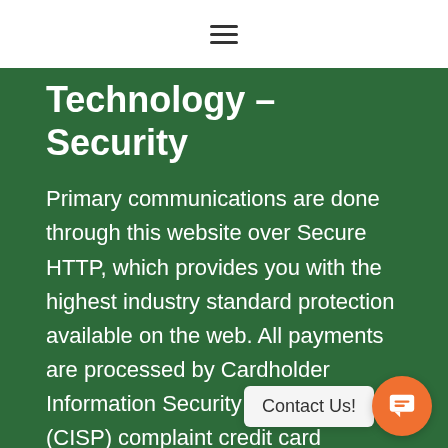≡
Technology – Security
Primary communications are done through this website over Secure HTTP, which provides you with the highest industry standard protection available on the web. All payments are processed by Cardholder Information Security Program (CISP) complaint credit card processors, and no credit card or payment account information is stored on our servers. The maintainer